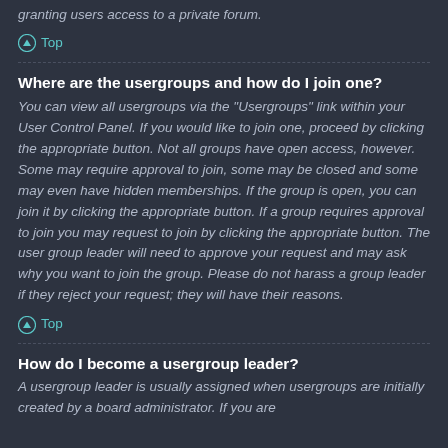granting users access to a private forum.
↑ Top
Where are the usergroups and how do I join one?
You can view all usergroups via the "Usergroups" link within your User Control Panel. If you would like to join one, proceed by clicking the appropriate button. Not all groups have open access, however. Some may require approval to join, some may be closed and some may even have hidden memberships. If the group is open, you can join it by clicking the appropriate button. If a group requires approval to join you may request to join by clicking the appropriate button. The user group leader will need to approve your request and may ask why you want to join the group. Please do not harass a group leader if they reject your request; they will have their reasons.
↑ Top
How do I become a usergroup leader?
A usergroup leader is usually assigned when usergroups are initially created by a board administrator. If you are